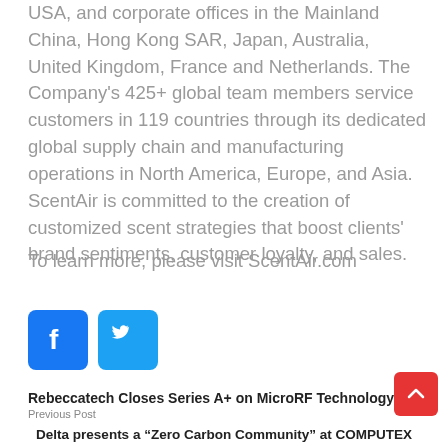USA, and corporate offices in the Mainland China, Hong Kong SAR, Japan, Australia, United Kingdom, France and Netherlands. The Company's 425+ global team members service customers in 119 countries through its dedicated global supply chain and manufacturing operations in North America, Europe, and Asia. ScentAir is committed to the creation of customized scent strategies that boost clients' brand sentiments, customer loyalty, and sales.
To learn more, please visit ScentAir.com
[Figure (illustration): Facebook and Twitter social media icon buttons]
Rebeccatech Closes Series A+ on MicroRF Technology
Previous Post
Delta presents a “Zero Carbon Community” at COMPUTEX